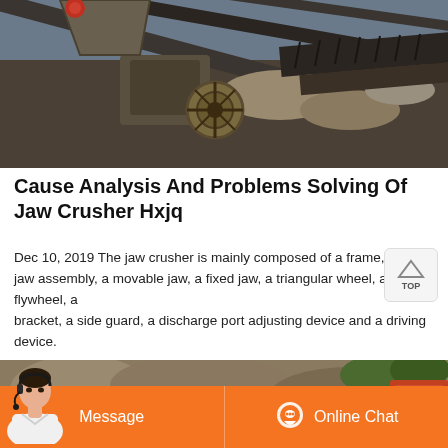[Figure (photo): Aerial view of jaw crusher machinery with conveyor belts and rock crushing equipment]
Cause Analysis And Problems Solving Of Jaw Crusher Hxjq
Dec 10, 2019 The jaw crusher is mainly composed of a frame, a movable jaw assembly, a movable jaw, a fixed jaw, a triangular wheel, a flywheel, a bracket, a side guard, a discharge port adjusting device and a driving device.
[Figure (photo): Rock quarry site with machinery and person with headset overlay, plus Message and Online Chat buttons]
Message
Online Chat